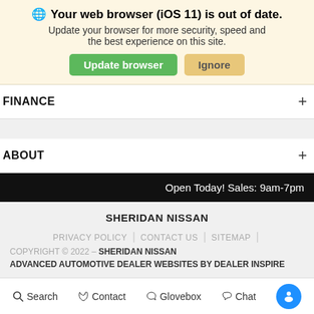🌐 Your web browser (iOS 11) is out of date. Update your browser for more security, speed and the best experience on this site.
Update browser | Ignore
FINANCE +
ABOUT +
Open Today! Sales: 9am-7pm
SHERIDAN NISSAN
PRIVACY POLICY | CONTACT US | SITEMAP | COPYRIGHT © 2022 - SHERIDAN NISSAN ADVANCED AUTOMOTIVE DEALER WEBSITES BY DEALER INSPIRE
NISSAN USA
Search  Contact  Glovebox  Chat  [accessibility]